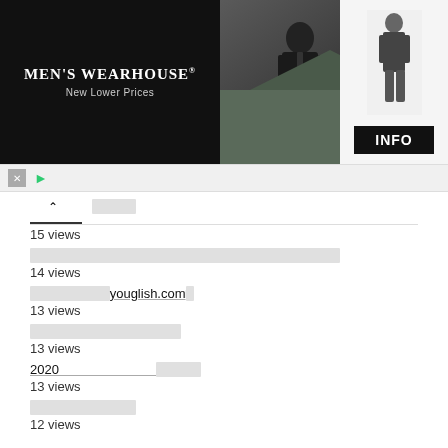[Figure (advertisement): Men's Wearhouse advertisement banner with couple in formalwear, suit image and INFO button]
15 views
[blocked link text]
14 views
[blocked]youglish.com[blocked]
13 views
[blocked link text]
13 views
2020 [blocked text]
13 views
[blocked link text]
12 views